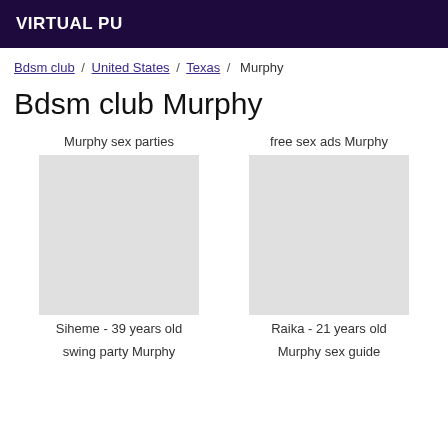VIRTUAL PU
Bdsm club / United States / Texas / Murphy
Bdsm club Murphy
Murphy sex parties
free sex ads Murphy
Siheme - 39 years old
Raika - 21 years old
swing party Murphy
Murphy sex guide